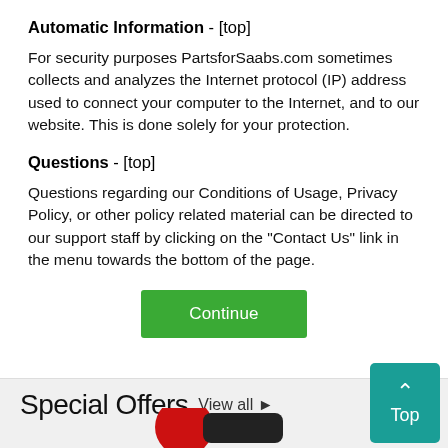Automatic Information - [top]
For security purposes PartsforSaabs.com sometimes collects and analyzes the Internet protocol (IP) address used to connect your computer to the Internet, and to our website. This is done solely for your protection.
Questions - [top]
Questions regarding our Conditions of Usage, Privacy Policy, or other policy related material can be directed to our support staff by clicking on the "Contact Us" link in the menu towards the bottom of the page.
[Figure (other): Green Continue button]
Special Offers  View all ▶
[Figure (photo): Product image partially visible at bottom of page — red circular element and dark elongated shape suggesting a product]